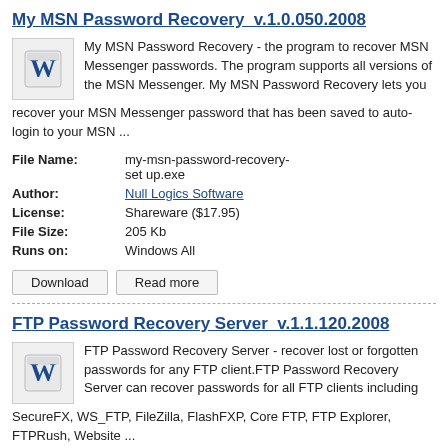My MSN Password Recovery  v.1.0.050.2008
My MSN Password Recovery - the program to recover MSN Messenger passwords. The program supports all versions of the MSN Messenger. My MSN Password Recovery lets you recover your MSN Messenger password that has been saved to auto-login to your MSN ...
| File Name: | my-msn-password-recovery-set up.exe |
| Author: | Null Logics Software |
| License: | Shareware ($17.95) |
| File Size: | 205 Kb |
| Runs on: | Windows All |
Download   Read more
FTP Password Recovery Server  v.1.1.120.2008
FTP Password Recovery Server - recover lost or forgotten passwords for any FTP client.FTP Password Recovery Server can recover passwords for all FTP clients including SecureFX, WS_FTP, FileZilla, FlashFXP, Core FTP, FTP Explorer, FTPRush, Website ...